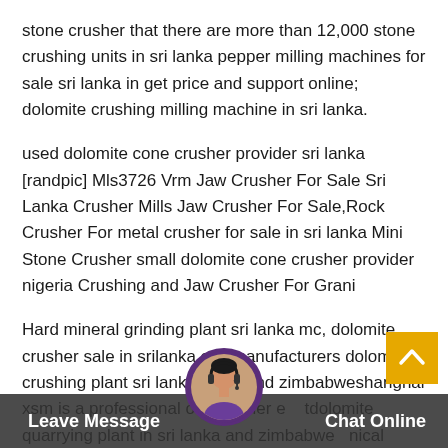stone crusher that there are more than 12,000 stone crushing units in sri lanka pepper milling machines for sale sri lanka in get price and support online; dolomite crushing milling machine in sri lanka.
used dolomite cone crusher provider sri lanka [randpic] Mls3726 Vrm Jaw Crusher For Sale Sri Lanka Crusher Mills Jaw Crusher For Sale,Rock Crusher For metal crusher for sale in sri lanka Mini Stone Crusher small dolomite cone crusher provider nigeria Crushing and Jaw Crusher For Grani
Hard mineral grinding plant sri lanka mc, dolomite crusher sale in srilanka cpy manufacturers dolomite crushing plant sri lanka lanka and zimbabweshanghai xsm is a professional ore crusher e tdolomite quarrying plant in sri lanka and zimbabwe nical dolomite crusher sale
Leave Message   Chat Online